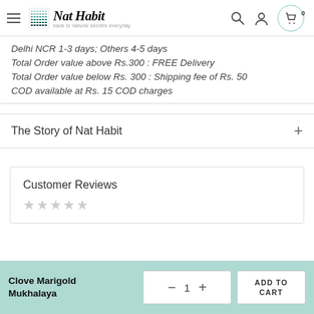Nat Habit – back to natural secrets everyday
Delhi NCR 1-3 days; Others 4-5 days
Total Order value above Rs.300 : FREE Delivery
Total Order value below Rs. 300 : Shipping fee of Rs. 50
COD available at Rs. 15 COD charges
The Story of Nat Habit
Customer Reviews
Clove Marigold Mukhalaya